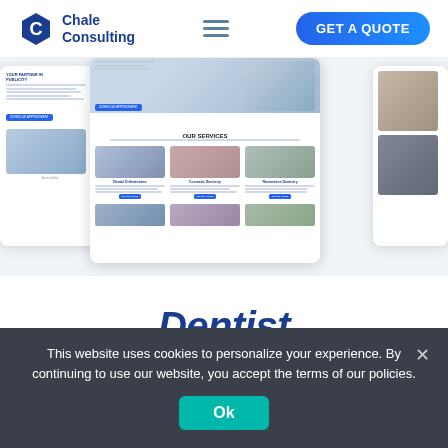[Figure (screenshot): Chale Consulting website header with logo, hamburger menu, and GET A QUOTE button]
[Figure (screenshot): Preview mockup of a dentist website showing services section with images and buttons]
Dentist
This website uses cookies to personalize your experience. By continuing to use our website, you accept the terms of our policies.